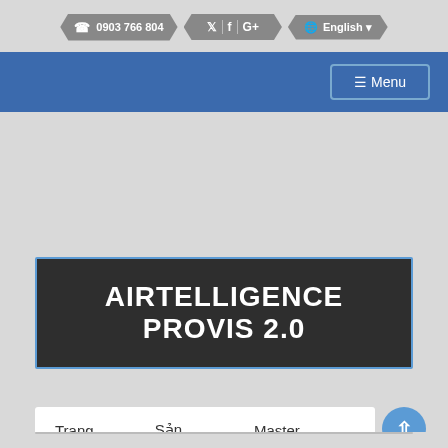☎ 0903 766 804 | Twitter | Facebook | Google+ | English
≡ Menu
AIRTELLIGENCE PROVIS 2.0
Trang Chủ ➔ Sản Phẩm ➔ Master Controls
➔ Multiple compressor controls